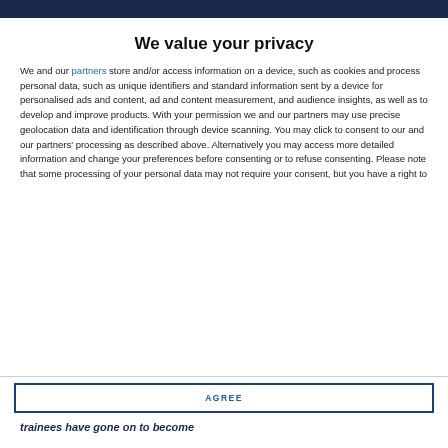We value your privacy
We and our partners store and/or access information on a device, such as cookies and process personal data, such as unique identifiers and standard information sent by a device for personalised ads and content, ad and content measurement, and audience insights, as well as to develop and improve products. With your permission we and our partners may use precise geolocation data and identification through device scanning. You may click to consent to our and our partners' processing as described above. Alternatively you may access more detailed information and change your preferences before consenting or to refuse consenting. Please note that some processing of your personal data may not require your consent, but you have a right to
AGREE
MORE OPTIONS
trainees have gone on to become